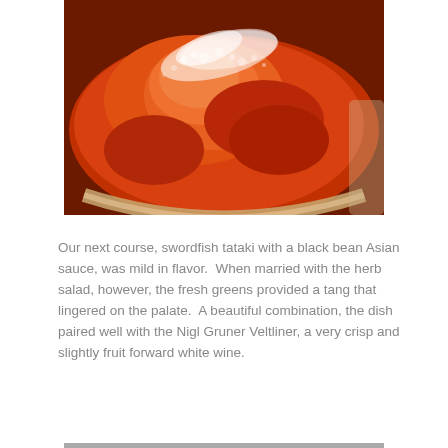[Figure (photo): Close-up photograph of a red/orange liquid (likely wine or sauce) in a glass or bowl, with bubbles and foam visible on the surface, viewed from above at an angle.]
Our next course, swordfish tataki with a black bean Asian sauce, was mild in flavor.  When married with the herb salad, however, the fresh greens provided a tang that lingered on the palate.  A beautiful combination, the dish paired well with the Nigl Gruner Veltliner, a very crisp and slightly fruit forward white wine.